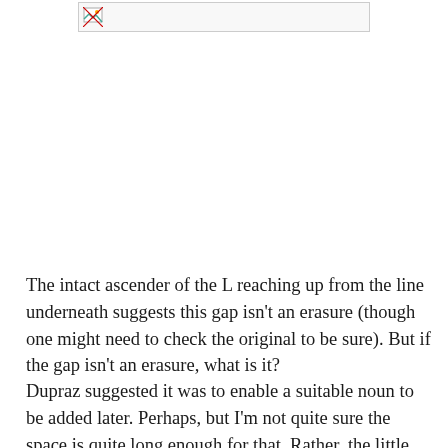[Figure (other): A broken/missing image placeholder icon in the upper portion of the page]
The intact ascender of the L reaching up from the line underneath suggests this gap isn't an erasure (though one might need to check the original to be sure). But if the gap isn't an erasure, what is it?
Dupraz suggested it was to enable a suitable noun to be added later. Perhaps, but I'm not quite sure the space is quite long enough for that. Rather, the little gap seems to express the